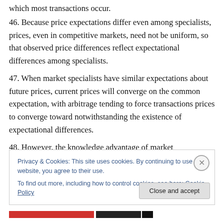which most transactions occur.
46. Because price expectations differ even among specialists, prices, even in competitive markets, need not be uniform, so that observed price differences reflect expectational differences among specialists.
47. When market specialists have similar expectations about future prices, current prices will converge on the common expectation, with arbitrage tending to force transactions prices to converge toward notwithstanding the existence of expectational differences.
48. However, the knowledge advantage of market
Privacy & Cookies: This site uses cookies. By continuing to use this website, you agree to their use.
To find out more, including how to control cookies, see here: Cookie Policy
Close and accept